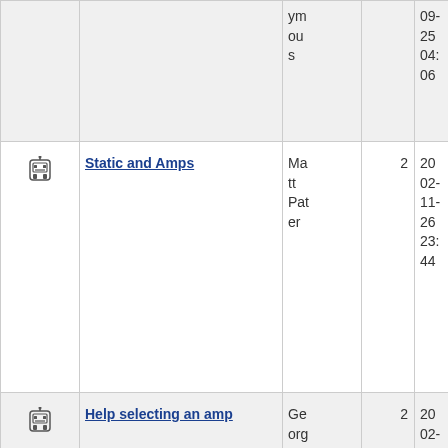|  | Topic | Author | Replies | Date |
| --- | --- | --- | --- | --- |
| [icon] |  | ymous |  | 09-25 04:06 |
| [icon] | Static and Amps | Matt Pater | 2 | 2002-11-26 23:44 |
| [icon] | Help selecting an amp | George Nelson | 2 | 2002-12-06 17:37 |
| [icon] |  |  |  |  |